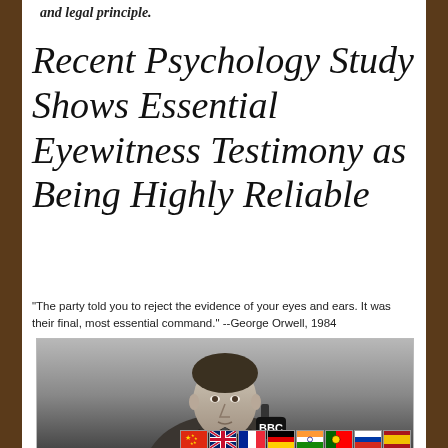and legal principle.
Recent Psychology Study Shows Essential Eyewitness Testimony as Being Highly Reliable
"The party told you to reject the evidence of your eyes and ears. It was their final, most essential command." --George Orwell, 1984
[Figure (photo): Black and white photograph of a man in front of a BBC microphone, with a row of country flags (China, UK, France, Germany, India, Portugal, Russia, Spain) along the bottom edge.]